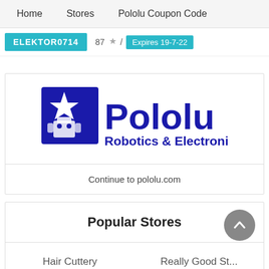Home   Stores   Pololu Coupon Code
ELEKTOR0714   87 / Expires 19-7-22
[Figure (logo): Pololu Robotics & Electronics logo — blue square with star and robot silhouette on left, blue text 'Pololu' large and 'Robotics & Electronics' below]
Continue to pololu.com
Popular Stores
Hair Cuttery   Really Good St...